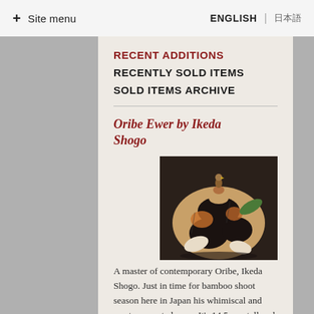+ Site menu  ENGLISH | 日本語
RECENT ADDITIONS
RECENTLY SOLD ITEMS
SOLD ITEMS ARCHIVE
Oribe Ewer by Ikeda Shogo
[Figure (photo): A ceramic Oribe-style ewer by Ikeda Shogo, round body with decorative patterns in black, brown, and green, with a bird figure on top, photographed against a dark background.]
A master of contemporary Oribe, Ikeda Shogo. Just in time for bamboo shoot season here in Japan his whimiscal and mastery created ewer. It's 14.5 cm. tall and 16cm.x14.5 across. Box would be extra if wanted, about 5,000 yen.
More
Sold